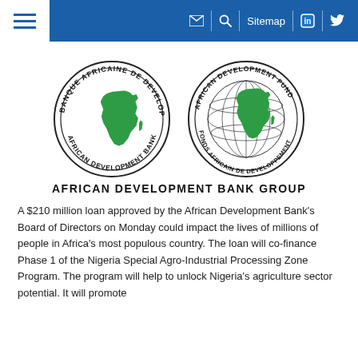Navigation bar with hamburger menu, email icon, search icon, Sitemap, LinkedIn, Twitter
[Figure (logo): African Development Bank Group logo: two circular seals side by side. Left seal: Banque Africaine de Developpement / African Development Bank with green Africa map. Right seal: African Development Fund / Fonds Africain de Developpement with green Africa map on globe.]
AFRICAN DEVELOPMENT BANK GROUP
A $210 million loan approved by the African Development Bank's Board of Directors on Monday could impact the lives of millions of people in Africa's most populous country. The loan will co-finance Phase 1 of the Nigeria Special Agro-Industrial Processing Zone Program. The program will help to unlock Nigeria's agriculture sector potential. It will promote